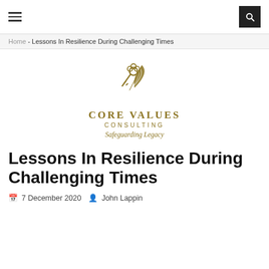Navigation bar with hamburger menu and search button
Home - Lessons In Resilience During Challenging Times
[Figure (logo): Core Values Consulting logo with a key and feather/quill icon in gold/olive color, text reads CORE VALUES CONSULTING, Safeguarding Legacy]
Lessons In Resilience During Challenging Times
7 December 2020  John Lappin